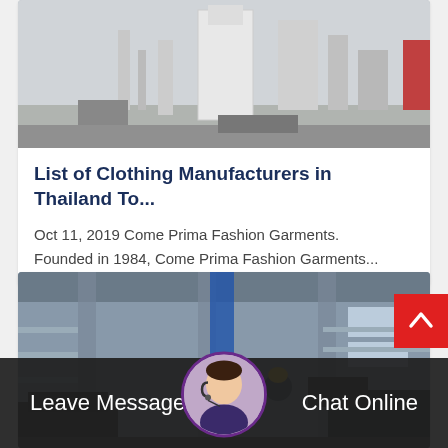[Figure (photo): Outdoor industrial/construction equipment scene, black and white tones, machinery and structures visible]
List of Clothing Manufacturers in Thailand To...
Oct 11, 2019 Come Prima Fashion Garments. Founded in 1984, Come Prima Fashion Garments...
[Figure (photo): Indoor industrial factory scene with workers in hard hats, large machinery, steel structures, blue and grey tones]
Leave Message
Chat Online